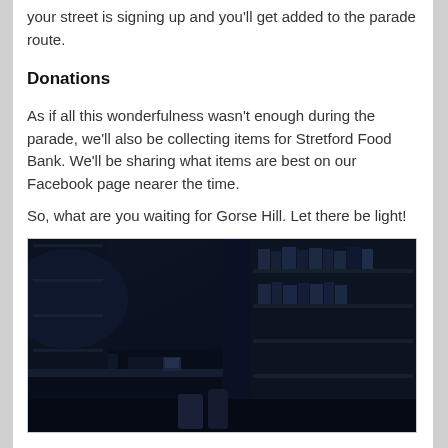your street is signing up and you'll get added to the parade route.
Donations
As if all this wonderfulness wasn't enough during the parade, we'll also be collecting items for Stretford Food Bank. We'll be sharing what items are best on our Facebook page nearer the time.
So, what are you waiting for Gorse Hill. Let there be light!
[Figure (photo): A dark interior room with bookshelves filled with books and a desk area, dimly lit with a dark blue tone, showing furniture and various items in low light.]